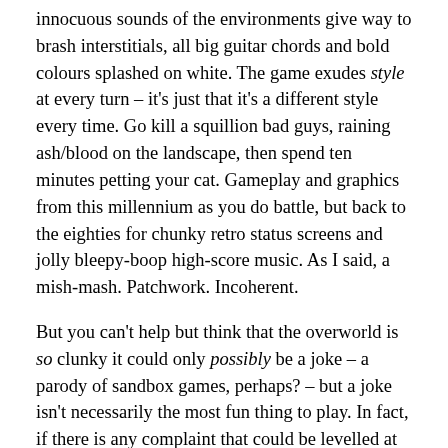innocuous sounds of the environments give way to brash interstitials, all big guitar chords and bold colours splashed on white. The game exudes style at every turn – it's just that it's a different style every time. Go kill a squillion bad guys, raining ash/blood on the landscape, then spend ten minutes petting your cat. Gameplay and graphics from this millennium as you do battle, but back to the eighties for chunky retro status screens and jolly bleepy-boop high-score music. As I said, a mish-mash. Patchwork. Incoherent.
But you can't help but think that the overworld is so clunky it could only possibly be a joke – a parody of sandbox games, perhaps? – but a joke isn't necessarily the most fun thing to play. In fact, if there is any complaint that could be levelled at NMH, it's that the early levels require a bit of grinding – odd jobs or samey assassination missions